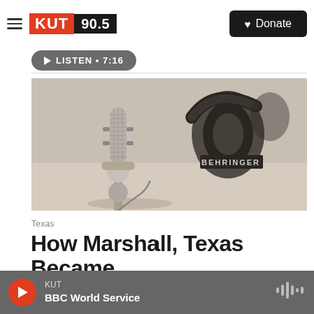KUT 90.5 | Donate
LISTEN • 7:16
[Figure (photo): Close-up photo of a silver studio condenser microphone with a Behringer headphone/headset in the background on a light surface]
Texas
How Marshall, Texas Became
KUT | BBC World Service